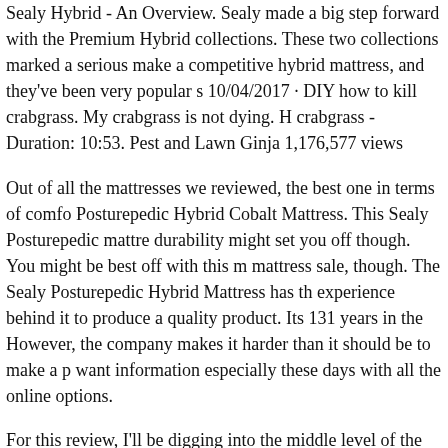Sealy Hybrid - An Overview. Sealy made a big step forward with the Premium Hybrid collections. These two collections marked a serious make a competitive hybrid mattress, and they've been very popular s 10/04/2017 · DIY how to kill crabgrass. My crabgrass is not dying. H crabgrass - Duration: 10:53. Pest and Lawn Ginja 1,176,577 views
Out of all the mattresses we reviewed, the best one in terms of comfo Posturepedic Hybrid Cobalt Mattress. This Sealy Posturepedic mattre durability might set you off though. You might be best off with this m mattress sale, though. The Sealy Posturepedic Hybrid Mattress has th experience behind it to produce a quality product. Its 131 years in the However, the company makes it harder than it should be to make a p want information especially these days with all the online options.
For this review, I'll be digging into the middle level of the Sealy Hyb Performance. Situated between the Essentials (least expensive) and t expensive), the Performance combines gentle foam with a Tempurpe a sleep that aims to be as pressure-relieving as it is supportive. When comfort– we've got your back. We make beds to satisfy your individu with responsive springs, conforming foams, and best-in-class hybri